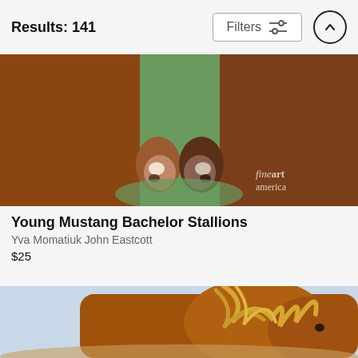Results: 141
[Figure (photo): Two brown mustang horses facing each other nose-to-nose on a green grassy field, with a Fine Art America watermark in the bottom right.]
Young Mustang Bachelor Stallions
Yva Momatiuk John Eastcott
$25
[Figure (photo): Close-up of a brown/chestnut horse with a flowing golden mane against a pale sky background.]